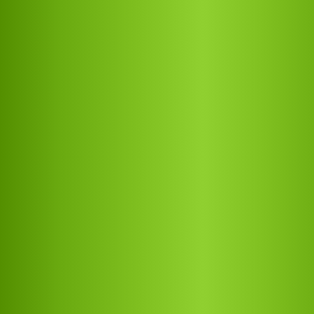Your Growing sure that you own indepen
Apr 03, 2017 — Spice up — Spice Up Your morning cof mix. They a
Mar 31, 2017 — Is running — Is running o is extremely didn&rsquo;
Mar 27, 2017 — Healthy F — Healthy Foo can help yo want to work
Feb 17, 2017 — Health Be — Health Bene foods. Many and some a
Feb 01, 2017 — Healthy, Q — Healthy, Qu make sure t